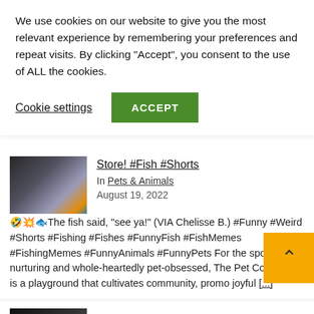We use cookies on our website to give you the most relevant experience by remembering your preferences and repeat visits. By clicking “Accept”, you consent to the use of ALL the cookies.
Cookie settings | ACCEPT
Store! #Fish #Shorts
In Pets & Animals
August 19, 2022
🤣💥🐠The fish said, "see ya!" (VIA Chelisse B.) #Funny #Weird #Shorts #Fishing #Fishes #FunnyFish #FishMemes #FishingMemes #FunnyAnimals #FunnyPets For the spoiling, nurturing and whole-heartedly pet-obsessed, The Pet Collective is a playground that cultivates community, promo joyful [...]
Adorable Lemure Devours Corn on the